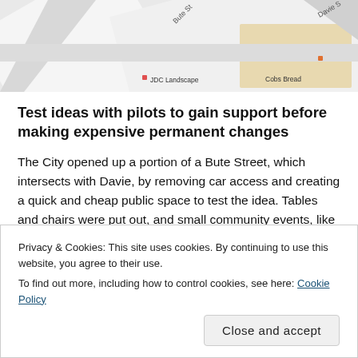[Figure (map): Street map showing Bute Street intersecting with Davie Street, with markers for JDC Landscape and Cobs Bread locations]
Test ideas with pilots to gain support before making expensive permanent changes
The City opened up a portion of a Bute Street, which intersects with Davie, by removing car access and creating a quick and cheap public space to test the idea. Tables and chairs were put out, and small community events, like games nights, were encouraged.
[Figure (photo): Partial view of a photo strip at the bottom of the page with orange and purple tones]
Privacy & Cookies: This site uses cookies. By continuing to use this website, you agree to their use.
To find out more, including how to control cookies, see here: Cookie Policy